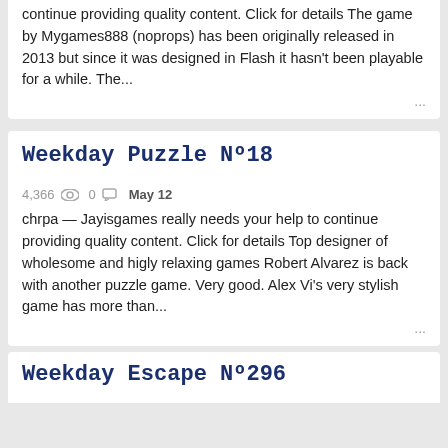continue providing quality content. Click for details The game by Mygames888 (noprops) has been originally released in 2013 but since it was designed in Flash it hasn't been playable for a while. The...
Weekday Puzzle Nº18
4,366  0  May 12
chrpa — Jayisgames really needs your help to continue providing quality content. Click for details Top designer of wholesome and higly relaxing games Robert Alvarez is back with another puzzle game. Very good. Alex Vi's very stylish game has more than...
Weekday Escape Nº296